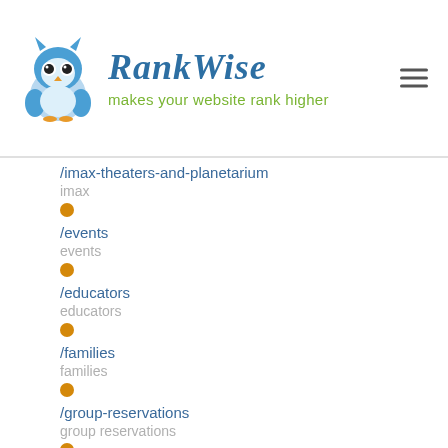RankWise — makes your website rank higher
/imax-theaters-and-planetarium
imax
/events
events
/educators
educators
/families
families
/group-reservations
group reservations
/covid-19-message